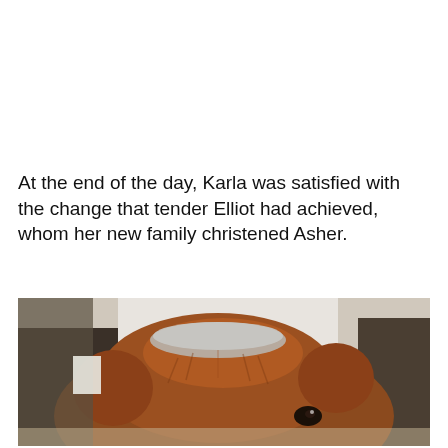At the end of the day, Karla was satisfied with the change that tender Elliot had achieved, whom her new family christened Asher.
[Figure (photo): Close-up photo of a brown/reddish dog's head, slightly tilted, looking upward toward the camera. The dog appears to be a retriever or similar breed, with soft fur. Background shows a couch and room interior.]